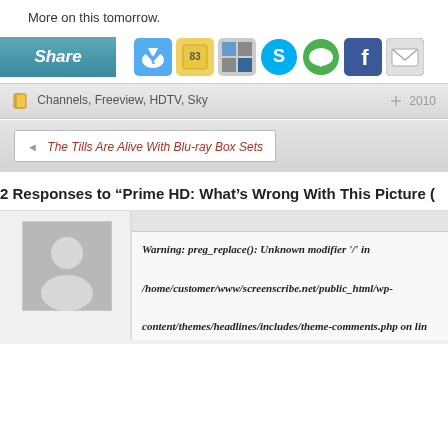More on this tomorrow.
[Figure (screenshot): Social share bar with Share button and icons: Twitter, social bookmarks, mixed icons, Skype-like, messaging, Facebook, email]
Channels, Freeview, HDTV, Sky   2010
◄ The Tills Are Alive With Blu-ray Box Sets
2 Responses to "Prime HD: What's Wrong With This Picture (
Warning: preg_replace(): Unknown modifier '/' in /home/customer/www/screenscribe.net/public_html/wp-content/themes/headlines/includes/theme-comments.php on lin